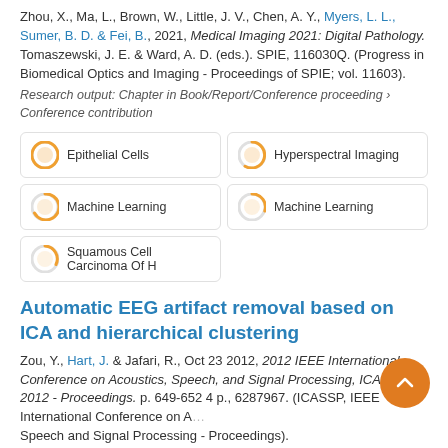Zhou, X., Ma, L., Brown, W., Little, J. V., Chen, A. Y., Myers, L. L., Sumer, B. D. & Fei, B., 2021, Medical Imaging 2021: Digital Pathology. Tomaszewski, J. E. & Ward, A. D. (eds.). SPIE, 116030Q. (Progress in Biomedical Optics and Imaging - Proceedings of SPIE; vol. 11603).
Research output: Chapter in Book/Report/Conference proceeding › Conference contribution
[Figure (infographic): Three keyword badges: Epithelial Cells (100%), Hyperspectral Imaging (90%), Machine Learning (left, ~80%), Machine Learning (right, ~70%), Squamous Cell Carcinoma Of H... (60%)]
Automatic EEG artifact removal based on ICA and hierarchical clustering
Zou, Y., Hart, J. & Jafari, R., Oct 23 2012, 2012 IEEE International Conference on Acoustics, Speech, and Signal Processing, ICASSP 2012 - Proceedings. p. 649-652 4 p., 6287967. (ICASSP, IEEE International Conference on Acoustics, Speech and Signal Processing - Proceedings).
Research output: Chapter in Book/Report/Conference proceeding ›